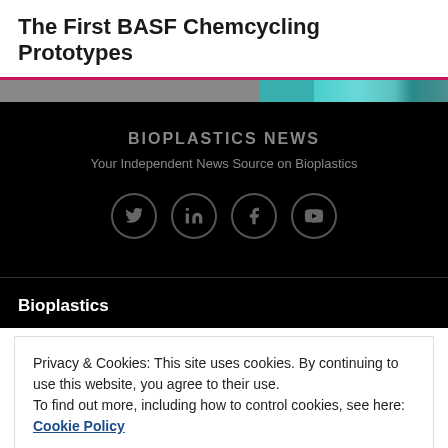The First BASF Chemcycling Prototypes
[Figure (screenshot): Colored image strip showing a teal/cyan colored image fragment]
BIOPLASTICS NEWS
Your Independent News Source on Bioplastics
[Figure (illustration): Social media icons: Twitter, LinkedIn, Facebook, YouTube — circular outlined icons in gray on black background]
Bioplastics
Privacy & Cookies: This site uses cookies. By continuing to use this website, you agree to their use.
To find out more, including how to control cookies, see here: Cookie Policy
Close and accept
Associations and Federations